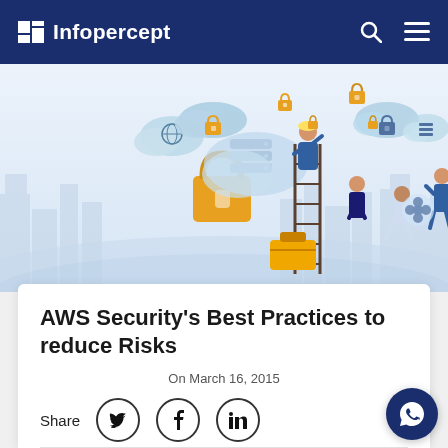Infopercept
[Figure (illustration): Cloud security illustration showing workers with ladders, padlocks, cloud icons, and city skyline background in light blue tones]
AWS Security's Best Practices to reduce Risks
On March 16, 2015
Share